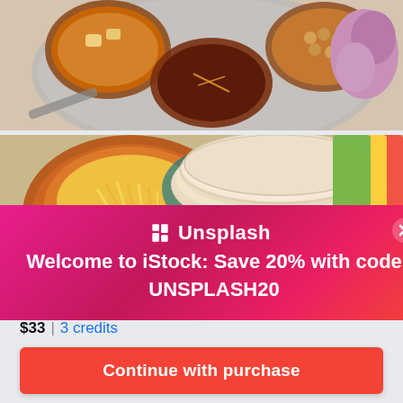[Figure (photo): Top-down view of Indian food on a metal thali plate with small steel bowls containing curry, chana, and garnished dishes, with sliced onions on the side]
[Figure (photo): Top-down view of Mexican-style food with a bowl of shredded cheese, flour tortillas in a stack, colorful napkins, lime wedges, and other ingredients]
Unsplash Welcome to iStock: Save 20% with code UNSPLASH20
$33 | 3 credits
Continue with purchase